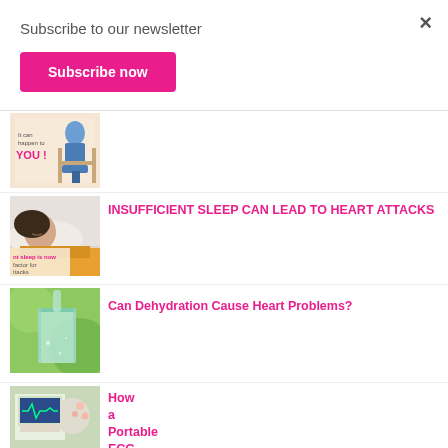×
Subscribe to our newsletter
Subscribe now
[Figure (illustration): Article thumbnail showing a person seated on a chair with text 'It can happen to YOU!']
[Figure (photo): Article thumbnail showing a sleeping woman with text about insufficient sleep and heart attacks]
INSUFFICIENT SLEEP CAN LEAD TO HEART ATTACKS
[Figure (photo): Article thumbnail showing water being poured into a glass on green background]
Can Dehydration Cause Heart Problems?
[Figure (photo): Article thumbnail for portable ECG device article]
How a Portable ECG device can help you detect heart problems?